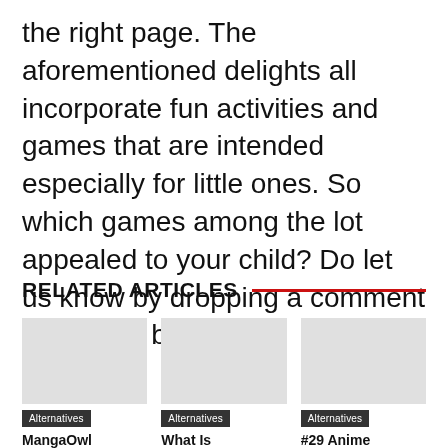the right page. The aforementioned delights all incorporate fun activities and games that are intended especially for little ones. So which games among the lot appealed to your child? Do let us know by dropping a comment in the box below.
RELATED ARTICLES
[Figure (photo): Thumbnail image placeholder for MangaOwl article]
Alternatives
MangaOwl
[Figure (photo): Thumbnail image placeholder for What Is article]
Alternatives
What Is
[Figure (photo): Thumbnail image placeholder for #29 Anime article]
Alternatives
#29 Anime